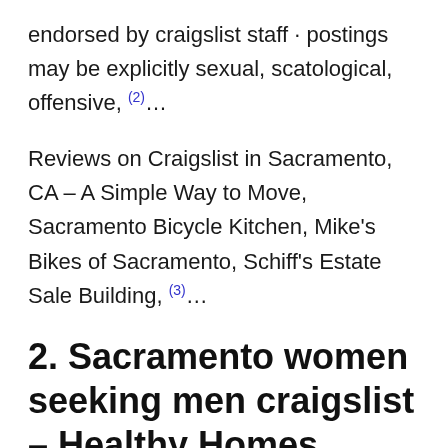endorsed by craigslist staff · postings may be explicitly sexual, scatological, offensive, (2)...
Reviews on Craigslist in Sacramento, CA – A Simple Way to Move, Sacramento Bicycle Kitchen, Mike's Bikes of Sacramento, Schiff's Estate Sale Building, (3)...
2. Sacramento women seeking men craigslist – Healthy Homes